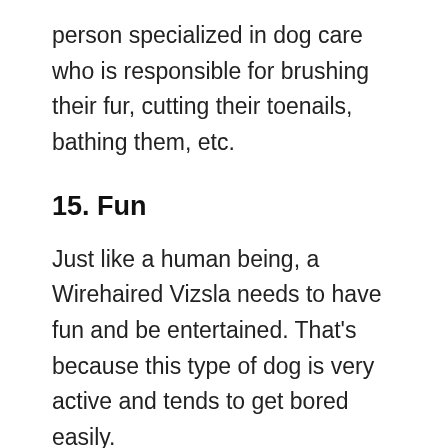person specialized in dog care who is responsible for brushing their fur, cutting their toenails, bathing them, etc.
15. Fun
Just like a human being, a Wirehaired Vizsla needs to have fun and be entertained. That’s because this type of dog is very active and tends to get bored easily.
We must ensure that we guarantee